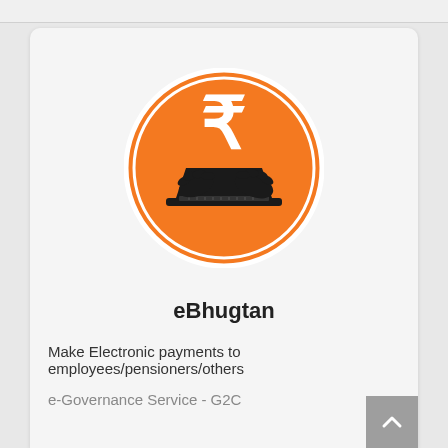[Figure (logo): eBhugtan logo: orange circle with Indian Rupee symbol and laptop/hands illustration]
eBhugtan
Make Electronic payments to employees/pensioners/others
e-Governance Service - G2C